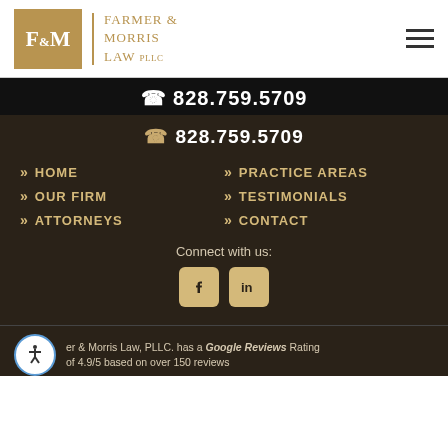[Figure (logo): Farmer & Morris Law PLLC logo with gold F&M monogram and firm name]
828.759.5709
828.759.5709
» HOME
» PRACTICE AREAS
» OUR FIRM
» TESTIMONIALS
» ATTORNEYS
» CONTACT
Connect with us:
[Figure (logo): Facebook and LinkedIn social media icons]
Farmer & Morris Law, PLLC. has a Google Reviews Rating of 4.9/5 based on over 150 reviews